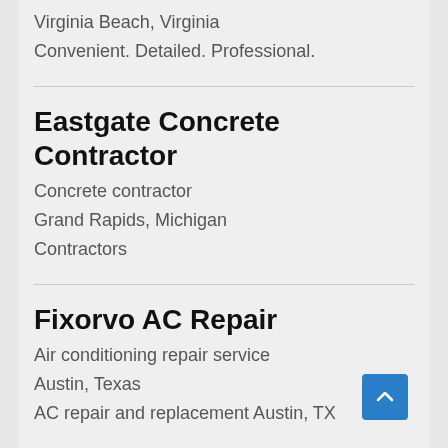Virginia Beach, Virginia
Convenient. Detailed. Professional.
Eastgate Concrete Contractor
Concrete contractor
Grand Rapids, Michigan
Contractors
Fixorvo AC Repair
Air conditioning repair service
Austin, Texas
AC repair and replacement Austin, TX